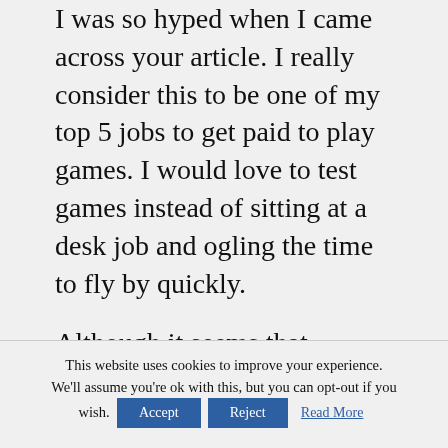I was so hyped when I came across your article. I really consider this to be one of my top 5 jobs to get paid to play games. I would love to test games instead of sitting at a desk job and ogling the time to fly by quickly.
Although it seems that Gaming Jobs Online does have legitimate jobs, it's not the jobs you get the impression of doing when signing up. Sure, you will need to write reports and do
This website uses cookies to improve your experience. We'll assume you're ok with this, but you can opt-out if you wish. Accept Reject Read More